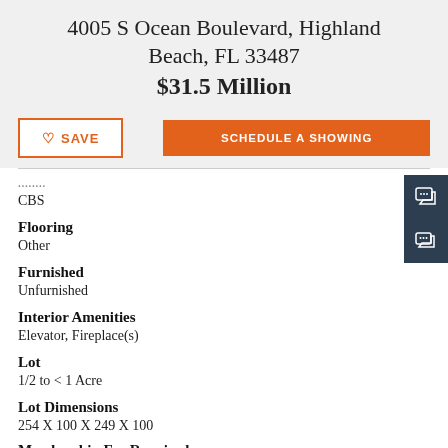4005 S Ocean Boulevard, Highland Beach, FL 33487
$31.5 Million
CBS
Flooring
Other
Furnished
Unfurnished
Interior Amenities
Elevator, Fireplace(s)
Lot
1/2 to < 1 Acre
Lot Dimensions
254 X 100 X 249 X 100